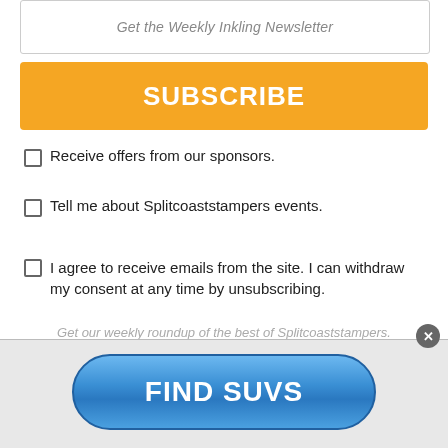Get the Weekly Inkling Newsletter
SUBSCRIBE
Receive offers from our sponsors.
Tell me about Splitcoaststampers events.
I agree to receive emails from the site. I can withdraw my consent at any time by unsubscribing.
Get our weekly roundup of the best of Splitcoaststampers.
Splitcoaststampers's privacy policy
[Figure (screenshot): Blue rounded button advertisement reading FIND SUVS]